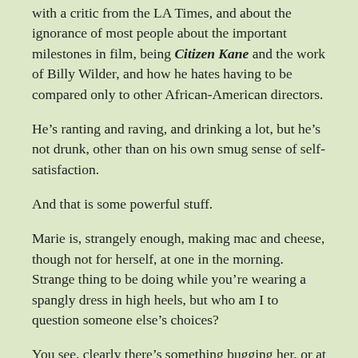with a critic from the LA Times, and about the ignorance of most people about the important milestones in film, being Citizen Kane and the work of Billy Wilder, and how he hates having to be compared only to other African-American directors.
He's ranting and raving, and drinking a lot, but he's not drunk, other than on his own smug sense of self-satisfaction.
And that is some powerful stuff.
Marie is, strangely enough, making mac and cheese, though not for herself, at one in the morning. Strange thing to be doing while you're wearing a spangly dress in high heels, but who am I to question someone else's choices?
You see, clearly there's something bugging her, or at least, there are a lot of things bugging her. No doubt it's because of something Malcolm did or didn't do. But she doesn't volunteer the information until it's demanded, and from then on it's on for young and old.
And by “young” I mean Zendaya, and by “old” I mean John David